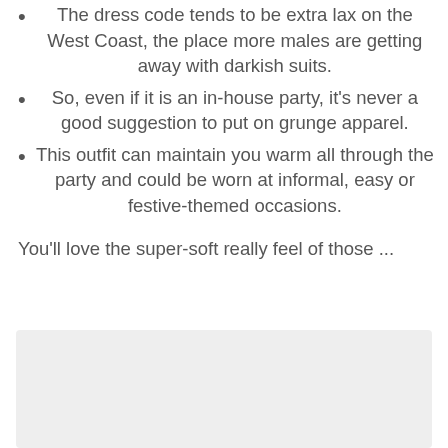The dress code tends to be extra lax on the West Coast, the place more males are getting away with darkish suits.
So, even if it is an in-house party, it's never a good suggestion to put on grunge apparel.
This outfit can maintain you warm all through the party and could be worn at informal, easy or festive-themed occasions.
You'll love the super-soft really feel of those ...
[Figure (photo): A light gray rectangular image placeholder at the bottom of the page]